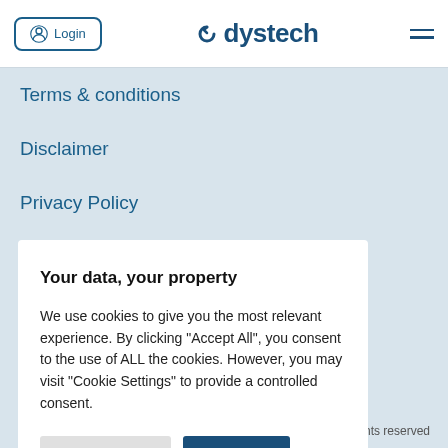Login  dystech
Terms & conditions
Disclaimer
Privacy Policy
How we use data
Your data, your property
We use cookies to give you the most relevant experience. By clicking "Accept All", you consent to the use of ALL the cookies. However, you may visit "Cookie Settings" to provide a controlled consent.
Cookie Settings   Accept All
l rights reserved